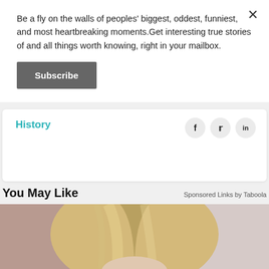Be a fly on the walls of peoples' biggest, oddest, funniest, and most heartbreaking moments.Get interesting true stories of and all things worth knowing, right in your mailbox.
Subscribe
History
You May Like
Sponsored Links by Taboola
[Figure (photo): Partial view of a blonde woman, cropped to show top of head and hair against a blurred background]